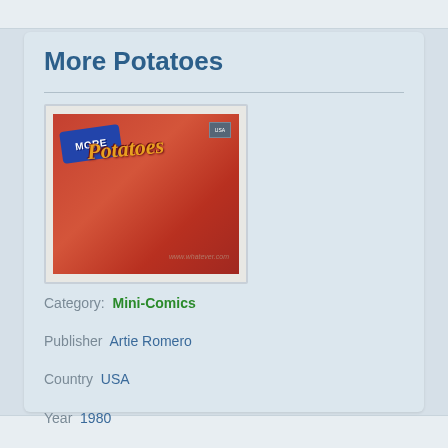More Potatoes
[Figure (photo): Comic book cover for 'More Potatoes' mini-comic with red background, blue banner saying 'MORE' and cursive yellow-orange title 'Potatoes']
Category:  Mini-Comics
Publisher  Artie Romero
Country  USA
Year  1980
Writers / Artists  Artie Romero
Notes
#1316 in Kennedy's Underground and Newave Comix Price Guide.